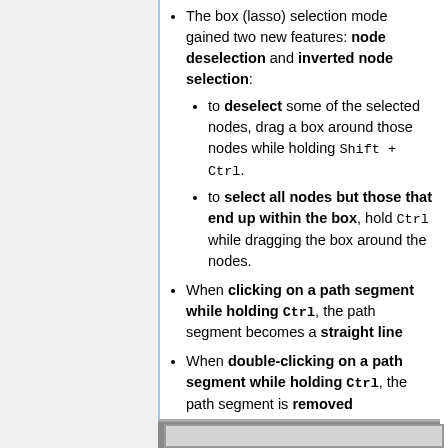The box (lasso) selection mode gained two new features: node deselection and inverted node selection:
to deselect some of the selected nodes, drag a box around those nodes while holding Shift + Ctrl.
to select all nodes but those that end up within the box, hold Ctrl while dragging the box around the nodes.
When clicking on a path segment while holding Ctrl, the path segment becomes a straight line
When double-clicking on a path segment while holding Ctrl, the path segment is removed
[Figure (screenshot): Bottom portion of a screenshot showing a grey bordered box]